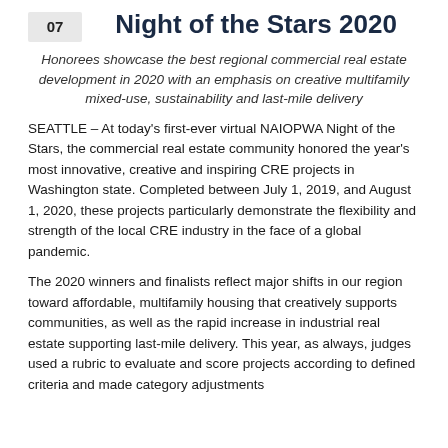07
Night of the Stars 2020
Honorees showcase the best regional commercial real estate development in 2020 with an emphasis on creative multifamily mixed-use, sustainability and last-mile delivery
SEATTLE – At today's first-ever virtual NAIOPWA Night of the Stars, the commercial real estate community honored the year's most innovative, creative and inspiring CRE projects in Washington state. Completed between July 1, 2019, and August 1, 2020, these projects particularly demonstrate the flexibility and strength of the local CRE industry in the face of a global pandemic.
The 2020 winners and finalists reflect major shifts in our region toward affordable, multifamily housing that creatively supports communities, as well as the rapid increase in industrial real estate supporting last-mile delivery. This year, as always, judges used a rubric to evaluate and score projects according to defined criteria and made category adjustments